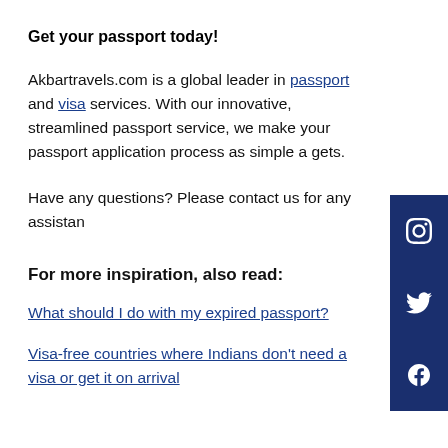Get your passport today!
Akbartravels.com is a global leader in passport and visa services. With our innovative, streamlined passport service, we make your passport application process as simple as it gets.
Have any questions? Please contact us for any assistance.
For more inspiration, also read:
What should I do with my expired passport?
Visa-free countries where Indians don't need a visa or get it on arrival